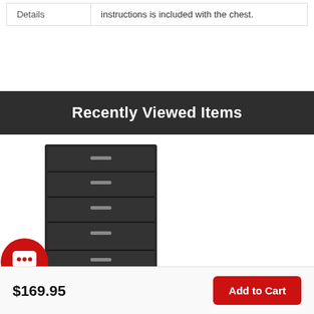| Details | instructions is included with the chest. |
Recently Viewed Items
[Figure (photo): Product photo of a dark brown/black 5-drawer chest (Arlo Chest - Black) with silver handles, and a red circular chat/comment icon overlaid at the bottom-left.]
Arlo Chest - Black
$169.95
Add to Cart